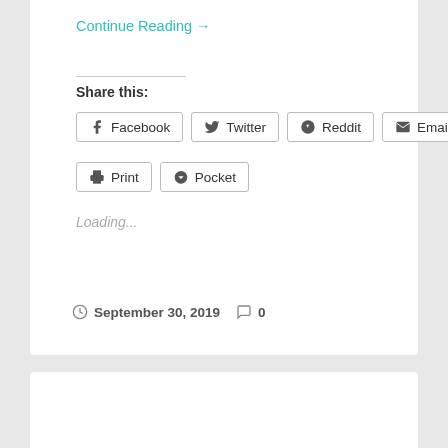Continue Reading →
Share this:
[Figure (other): Social share buttons: Facebook, Twitter, Reddit, Email, Print, Pocket]
Loading...
September 30, 2019  0
Bill Gates is bullish on tech in 2019